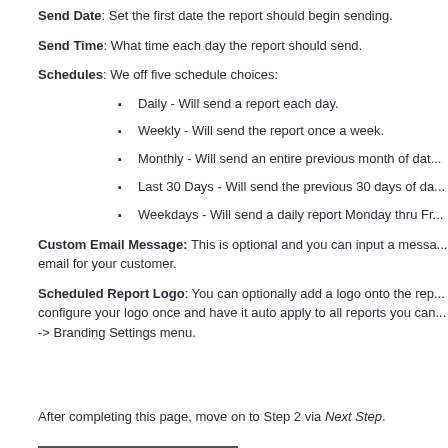Send Date: Set the first date the report should begin sending.
Send Time: What time each day the report should send.
Schedules: We off five schedule choices:
Daily - Will send a report each day.
Weekly - Will send the report once a week.
Monthly - Will send an entire previous month of dat...
Last 30 Days - Will send the previous 30 days of da...
Weekdays - Will send a daily report Monday thru Fr...
Custom Email Message: This is optional and you can input a messa... email for your customer.
Scheduled Report Logo: You can optionally add a logo onto the rep... configure your logo once and have it auto apply to all reports you can... -> Branding Settings menu.
After completing this page, move on to Step 2 via Next Step.